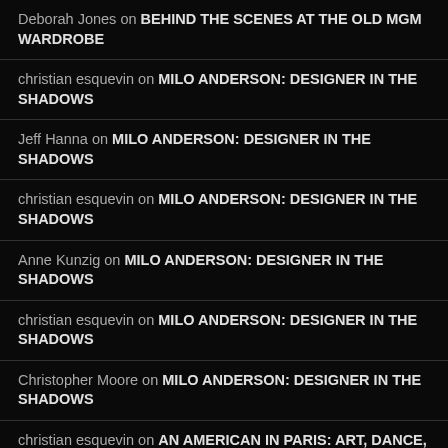Deborah Jones on BEHIND THE SCENES AT THE OLD MGM WARDROBE
christian esquevin on MILO ANDERSON: DESIGNER IN THE SHADOWS
Jeff Hanna on MILO ANDERSON: DESIGNER IN THE SHADOWS
christian esquevin on MILO ANDERSON: DESIGNER IN THE SHADOWS
Anne Kunzig on MILO ANDERSON: DESIGNER IN THE SHADOWS
christian esquevin on MILO ANDERSON: DESIGNER IN THE SHADOWS
Christopher Moore on MILO ANDERSON: DESIGNER IN THE SHADOWS
christian esquevin on AN AMERICAN IN PARIS: ART, DANCE, MUSIC & COSTUMES
Hamlette (Rachel) on AN AMERICAN IN PARIS: ART, DANCE, MUSIC & COSTUMES